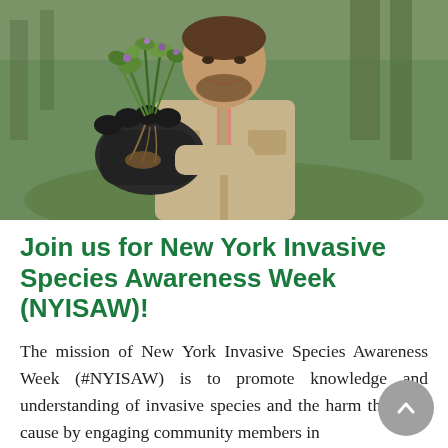[Figure (photo): A smiling man wearing a beige vest and black gloves holds up a clump of invasive plants with roots, standing outdoors in a wooded area.]
Join us for New York Invasive Species Awareness Week (NYISAW)!
The mission of New York Invasive Species Awareness Week (#NYISAW) is to promote knowledge and understanding of invasive species and the harm they can cause by engaging community members in